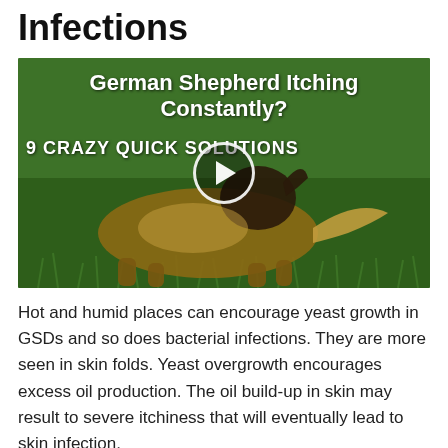Infections
[Figure (screenshot): Video thumbnail showing a German Shepherd dog scratching/itching on grass. Text overlay reads 'German Shepherd Itching Constantly?' and '9 CRAZY QUICK SOLUTIONS' with a play button in the center.]
Hot and humid places can encourage yeast growth in GSDs and so does bacterial infections. They are more seen in skin folds. Yeast overgrowth encourages excess oil production. The oil build-up in skin may result to severe itchiness that will eventually lead to skin infection.